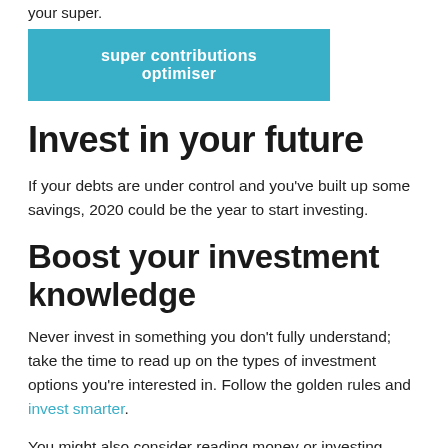your super.
super contributions optimiser
Invest in your future
If your debts are under control and you've built up some savings, 2020 could be the year to start investing.
Boost your investment knowledge
Never invest in something you don't fully understand; take the time to read up on the types of investment options you're interested in. Follow the golden rules and invest smarter.
You might also consider reading money or investing magazines, or following finance and